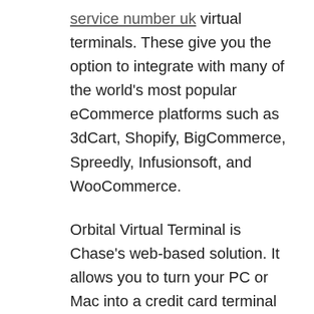service number uk virtual terminals. These give you the option to integrate with many of the world's most popular eCommerce platforms such as 3dCart, Shopify, BigCommerce, Spreedly, Infusionsoft, and WooCommerce.
Orbital Virtual Terminal is Chase's web-based solution. It allows you to turn your PC or Mac into a credit card terminal and key in transactions manually or use an optional USB-connected card reader. The web interface is free, but you'll have to pay for the reader.
Those more interested in payment gateways